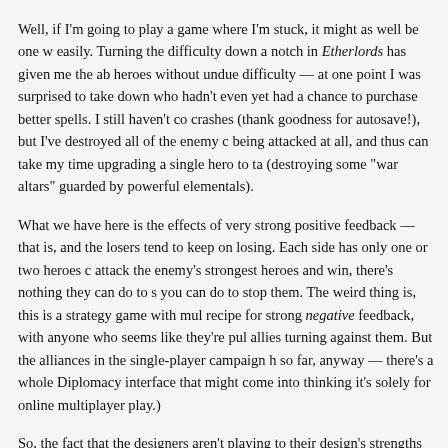Well, if I'm going to play a game where I'm stuck, it might as well be one w easily. Turning the difficulty down a notch in Etherlords has given me the ab heroes without undue difficulty — at one point I was surprised to take down who hadn't even yet had a chance to purchase better spells. I still haven't co crashes (thank goodness for autosave!), but I've destroyed all of the enemy c being attacked at all, and thus can take my time upgrading a single hero to ta (destroying some "war altars" guarded by powerful elementals).
What we have here is the effects of very strong positive feedback — that is, and the losers tend to keep on losing. Each side has only one or two heroes c attack the enemy's strongest heroes and win, there's nothing they can do to s you can do to stop them. The weird thing is, this is a strategy game with mul recipe for strong negative feedback, with anyone who seems like they're pul allies turning against them. But the alliances in the single-player campaign h so far, anyway — there's a whole Diplomacy interface that might come into thinking it's solely for online multiplayer play.)
So, the fact that the designers aren't playing to their design's strengths here b I've already noted other supporting evidence in previous posts) that the pseu wasn't the focus of their attention. And at this point, I'm willing to conclude focus of my attention either. If I keep the difficulty set where it was before, I time on a fraction of the map, replaying the first few turns over and over in